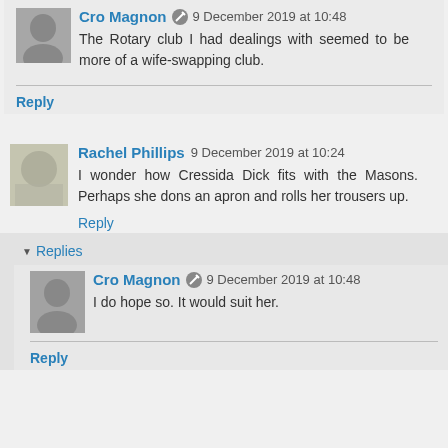Cro Magnon [edit icon] 9 December 2019 at 10:48
The Rotary club I had dealings with seemed to be more of a wife-swapping club.
Reply
Rachel Phillips 9 December 2019 at 10:24
I wonder how Cressida Dick fits with the Masons. Perhaps she dons an apron and rolls her trousers up.
Reply
▼ Replies
Cro Magnon [edit icon] 9 December 2019 at 10:48
I do hope so. It would suit her.
Reply